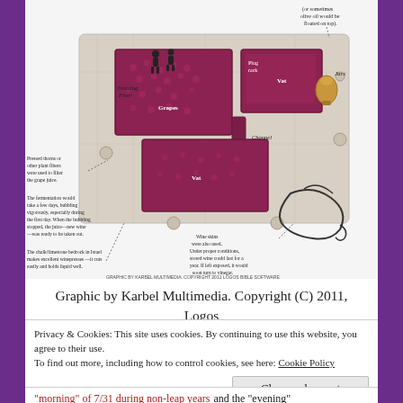[Figure (illustration): 3D diagram of an ancient winepress cut in chalk/limestone bedrock showing treading floor with grapes, plug rack, vat, channel, jars, and wine skins. Annotated with labels and explanatory text about fermentation, filtering with plant fibers, and storage.]
Graphic by Karbel Multimedia. Copyright (C) 2011, Logos Bible Software
Privacy & Cookies: This site uses cookies. By continuing to use this website, you agree to their use. To find out more, including how to control cookies, see here: Cookie Policy
"morning" of 7/31 during non-leap years and the "evening"